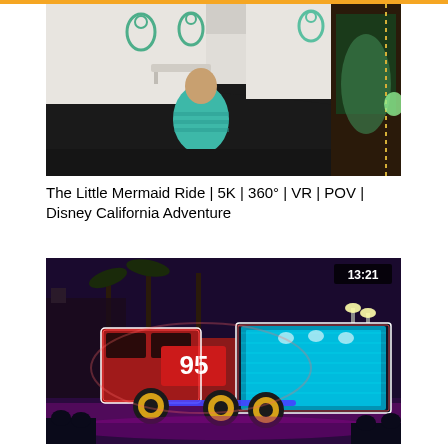[Figure (photo): Video thumbnail showing a person in a teal/blue outfit standing in what appears to be The Little Mermaid ride queue area at Disney California Adventure, with green decorative swirls on white walls and a black curved counter.]
The Little Mermaid Ride | 5K | 360° | VR | POV | Disney California Adventure
[Figure (photo): Video thumbnail showing a large illuminated truck (Mack from Cars/Pixar) decorated with colorful neon lights including the number 95, photographed at night at Disney California Adventure during a parade. Duration badge shows 13:21.]